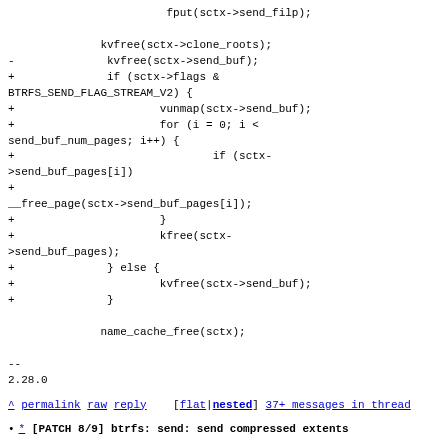fput(sctx->send_filp);

                kvfree(sctx->clone_roots);
-                kvfree(sctx->send_buf);
+                if (sctx->flags &
BTRFS_SEND_FLAG_STREAM_V2) {
+                        vunmap(sctx->send_buf);
+                        for (i = 0; i <
send_buf_num_pages; i++) {
+                                if (sctx-
>send_buf_pages[i])
+
__free_page(sctx->send_buf_pages[i]);
+                        }
+                        kfree(sctx-
>send_buf_pages);
+                } else {
+                        kvfree(sctx->send_buf);
+                }

                name_cache_free(sctx);

--
2.28.0
^ permalink raw reply  [flat|nested] 37+ messages in thread
* [PATCH 8/9] btrfs: send: send compressed extents